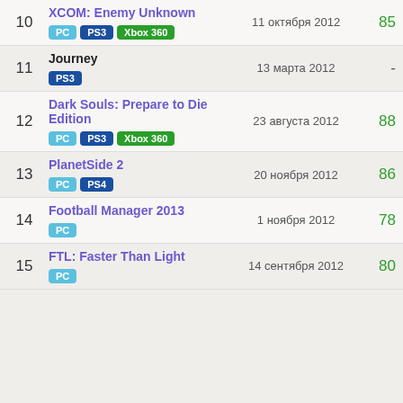10 | XCOM: Enemy Unknown | 11 октября 2012 | 85 | PC, PS3, Xbox 360
11 | Journey | 13 марта 2012 | - | PS3
12 | Dark Souls: Prepare to Die Edition | 23 августа 2012 | 88 | PC, PS3, Xbox 360
13 | PlanetSide 2 | 20 ноября 2012 | 86 | PC, PS4
14 | Football Manager 2013 | 1 ноября 2012 | 78 | PC
15 | FTL: Faster Than Light | 14 сентября 2012 | 80 | PC